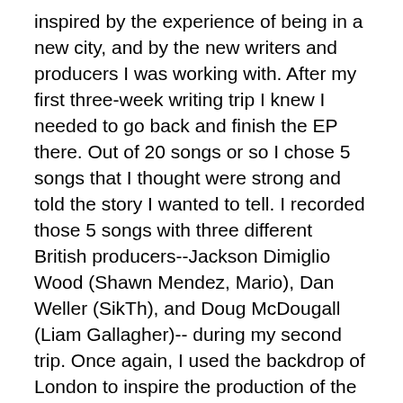inspired by the experience of being in a new city, and by the new writers and producers I was working with. After my first three-week writing trip I knew I needed to go back and finish the EP there. Out of 20 songs or so I chose 5 songs that I thought were strong and told the story I wanted to tell. I recorded those 5 songs with three different British producers--Jackson Dimiglio Wood (Shawn Mendez, Mario), Dan Weller (SikTh), and Doug McDougall (Liam Gallagher)-- during my second trip. Once again, I used the backdrop of London to inspire the production of the songs. This EP is, to date, my favorite writing/recording process I've ever been a part of!
How would you say your childhood shaped your pop music interests?